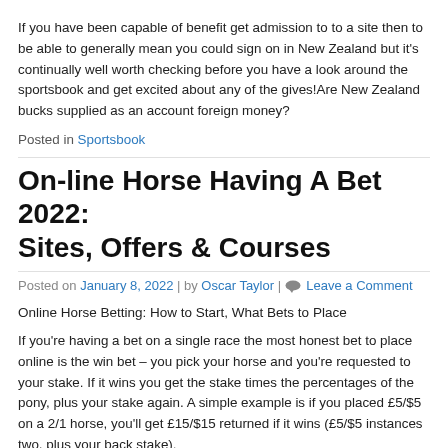If you have been capable of benefit get admission to to a site then to be able to generally mean you could sign on in New Zealand but it's continually well worth checking before you have a look around the sportsbook and get excited about any of the gives!Are New Zealand bucks supplied as an account foreign money?
Posted in Sportsbook
On-line Horse Having A Bet 2022: Sites, Offers & Courses
Posted on January 8, 2022 | by Oscar Taylor | Leave a Comment
Online Horse Betting: How to Start, What Bets to Place
If you're having a bet on a single race the most honest bet to place online is the win bet – you pick your horse and you're requested to your stake. If it wins you get the stake times the percentages of the pony, plus your stake again. A simple example is if you placed £5/$5 on a 2/1 horse, you'll get £15/$15 returned if it wins (£5/$5 instances two, plus your back stake).
Also famous is the each-way guess, where you bet on a horse to win or finish within the locations. You get a percentage of the chances for the area part of